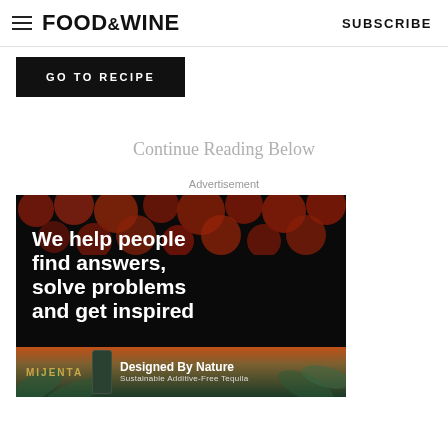FOOD & WINE   SUBSCRIBE
GO TO RECIPE
Continue Reading Below
Advertisement
[Figure (photo): Advertisement banner: dark background with red dot pattern at top, white bold text reading 'We help people find answers, solve problems and get inspired'. Below is a Mijenta tequila ad with text 'Designed By Nature - Sustainable Additive-Free Tequila'.]
Ad